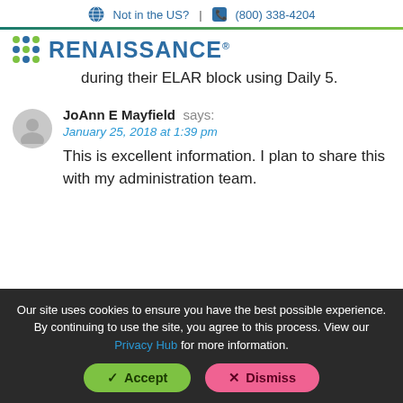Not in the US? | (800) 338-4204
[Figure (logo): Renaissance logo with grid of dots and blue text]
during their ELAR block using Daily 5.
JoAnn E Mayfield says:
January 25, 2018 at 1:39 pm
This is excellent information. I plan to share this with my administration team.
Our site uses cookies to ensure you have the best possible experience. By continuing to use the site, you agree to this process. View our Privacy Hub for more information.